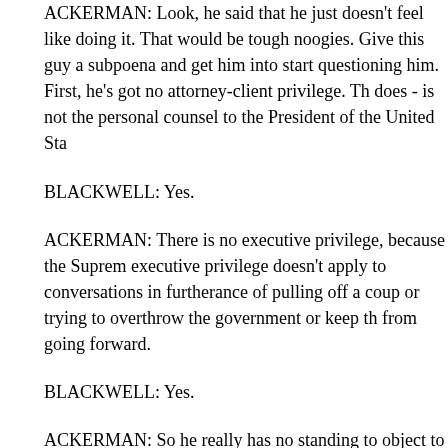ACKERMAN: Look, he said that he just doesn't feel like doing it. That would be tough noogies. Give this guy a subpoena and get him into court and start questioning him. First, he's got no attorney-client privilege. The firm does - is not the personal counsel to the President of the United Sta...
BLACKWELL: Yes.
ACKERMAN: There is no executive privilege, because the Supreme Court... executive privilege doesn't apply to conversations in furtherance of pulling off a coup or trying to overthrow the government or keep the election from going forward.
BLACKWELL: Yes.
ACKERMAN: So he really has no standing to object to this. They s... representatives want him in there, they ought to hand them a subpo... and question him.